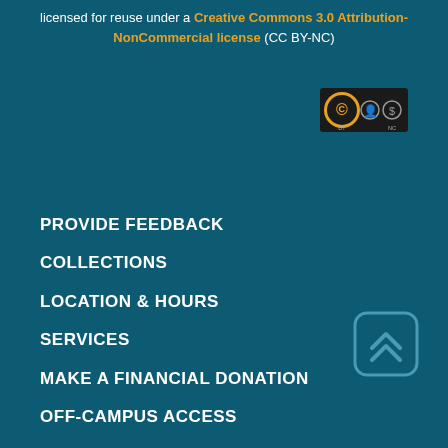licensed for reuse under a Creative Commons 3.0 Attribution-NonCommercial license (CC BY-NC)
[Figure (logo): Creative Commons BY-NC license badge icon]
PROVIDE FEEDBACK
COLLECTIONS
LOCATION & HOURS
SERVICES
MAKE A FINANCIAL DONATION
OFF-CAMPUS ACCESS
HELP & GENERAL INFO
HOSPITAL LIBRARIES
EMPLOYMENT
[Figure (other): Scroll-to-top button with double chevron up arrow, teal rounded square border]